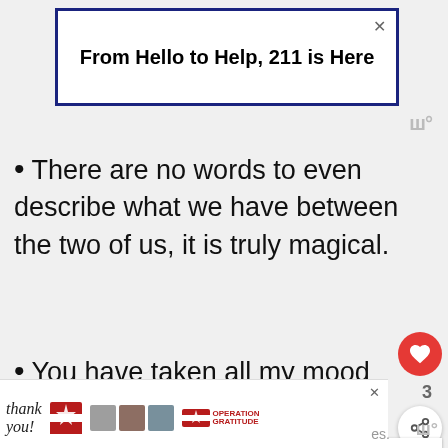[Figure (screenshot): Advertisement banner with dark blue border: 'From Hello to Help, 211 is Here' with close button X]
There are no words to even describe what we have between the two of us, it is truly magical.
You have taken all my mood swings and my midnight calls with a smile on your face. Thanks for being the board I can always depend on.
[Figure (screenshot): Bottom advertisement banner: Operation Gratitude thank you image with nurses and patriotic artwork. Close button visible.]